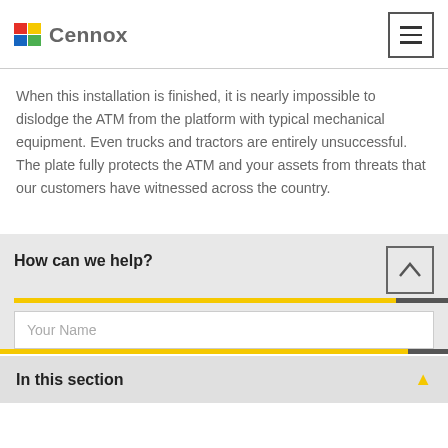Cennox
When this installation is finished, it is nearly impossible to dislodge the ATM from the platform with typical mechanical equipment. Even trucks and tractors are entirely unsuccessful. The plate fully protects the ATM and your assets from threats that our customers have witnessed across the country.
How can we help?
Your Name
In this section